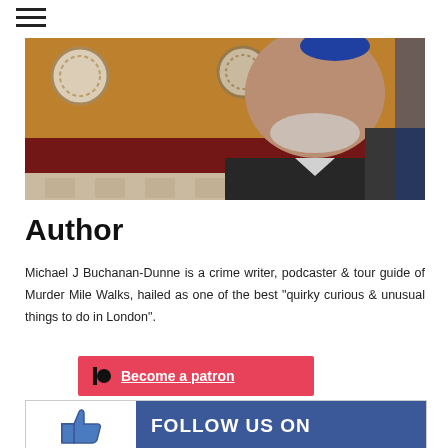[Figure (photo): Photo of Michael J Buchanan-Dunne, a middle-aged man with a white beard wearing a dark jacket, taken in a tiled room with decorative plates on the wall.]
Author
Michael J Buchanan-Dunne is a crime writer, podcaster & tour guide of Murder Mile Walks, hailed as one of the best "quirky curious & unusual things to do in London".
[Figure (screenshot): Patreon button with red background showing a black circle icon and 'Become a patron' text in white with underline.]
[Figure (screenshot): Facebook follow banner with thumbs up icon on white and 'FOLLOW US ON' text on blue Facebook-colored background.]